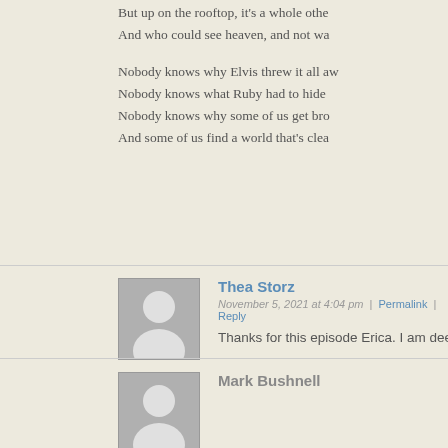But up on the rooftop, it's a whole othe
And who could see heaven, and not wa
Nobody knows why Elvis threw it all aw
Nobody knows what Ruby had to hide
Nobody knows why some of us get bro
And some of us find a world that's clea
Thea Storz
November 5, 2021 at 4:04 pm | Permalink | Reply
Thanks for this episode Erica. I am dee
Mark Bushnell